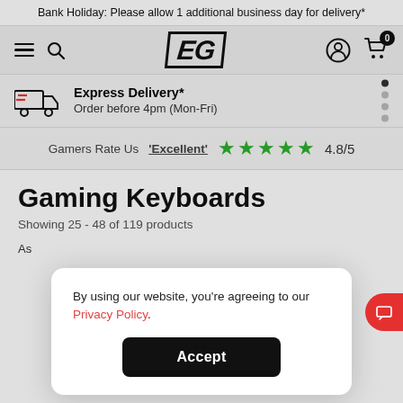Bank Holiday: Please allow 1 additional business day for delivery*
[Figure (logo): EG logo with hamburger menu, search icon, user icon, and cart icon with badge 0]
Express Delivery* Order before 4pm (Mon-Fri)
Gamers Rate Us 'Excellent' 4.8/5
Gaming Keyboards
Showing 25 - 48 of 119 products
By using our website, you're agreeing to our Privacy Policy.
Accept